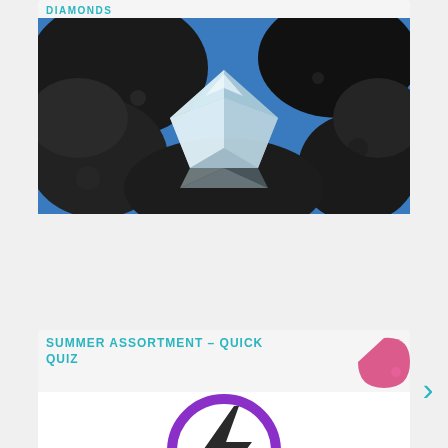DIAMONDS
[Figure (photo): Close-up photo of a raw diamond crystal embedded in dark rock matrix against a blue background]
SUMMER ASSORTMENT – QUICK QUIZ
[Figure (logo): Purple circle with a black lightning bolt symbol inside, representing a quick quiz icon]